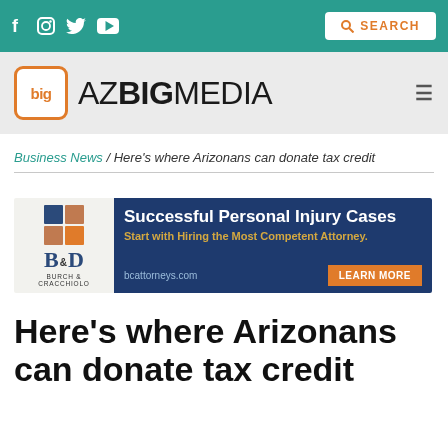f  [instagram]  [twitter]  [youtube]   SEARCH
[Figure (logo): AZ Big Media logo — orange rounded square with 'big' text and 'AZBIGMEDIA' wordmark]
Business News / Here's where Arizonans can donate tax credit
[Figure (other): Burch & Cracchiolo law firm advertisement: 'Successful Personal Injury Cases — Start with Hiring the Most Competent Attorney. bcattorneys.com LEARN MORE']
Here's where Arizonans can donate tax credit